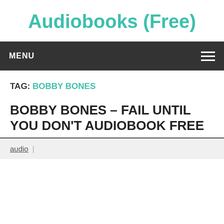Audiobooks (Free)
MENU
TAG: BOBBY BONES
BOBBY BONES – FAIL UNTIL YOU DON'T AUDIOBOOK FREE
audio